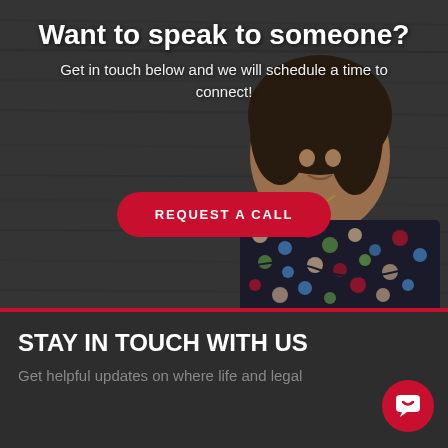Want to speak to someone?
Get in touch below and we will schedule a time to connect!
[Figure (photo): Woman in colorful polka dot blouse with arms crossed, against a dark wooden background]
REQUEST A CALL
STAY IN TOUCH WITH US
Get helpful updates on where life and legal